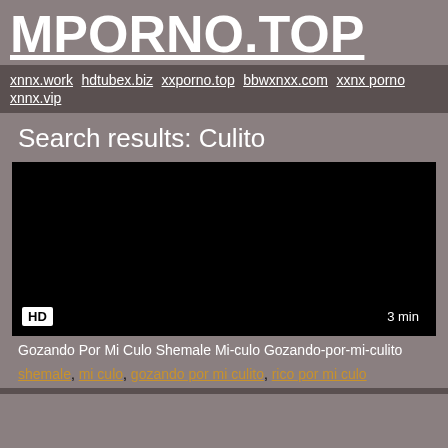MPORNO.TOP
xnnx.work hdtubex.biz xxporno.top bbwxnxx.com xxnx porno xnnx.vip
Search results: Culito
[Figure (screenshot): Black video thumbnail with HD badge bottom-left and '3 min' duration badge bottom-right]
Gozando Por Mi Culo Shemale Mi-culo Gozando-por-mi-culito
shemale, mi culo, gozando por mi culito, rico por mi culo